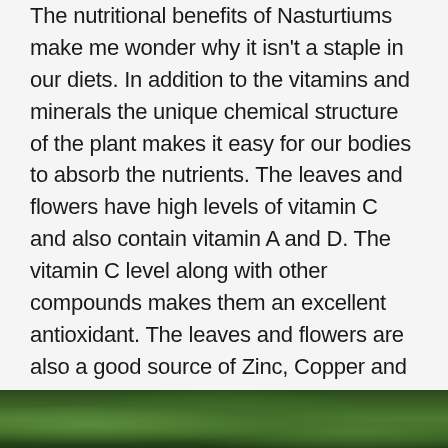The nutritional benefits of Nasturtiums make me wonder why it isn't a staple in our diets. In addition to the vitamins and minerals the unique chemical structure of the plant makes it easy for our bodies to absorb the nutrients. The leaves and flowers have high levels of vitamin C and also contain vitamin A and D. The vitamin C level along with other compounds makes them an excellent antioxidant. The leaves and flowers are also a good source of Zinc, Copper and Iron and trace elements like Magnesium, Potassium, Calcium and Phosphorus. Medical sources do advise consumption in moderation, however, especially of the seeds, as some studies suggest large quantities can be harmful to stomach and kidneys. Like most things in life, best enjoyed in moderation.
[Figure (photo): A photograph of nasturtium plants with green foliage visible at the bottom of the page]